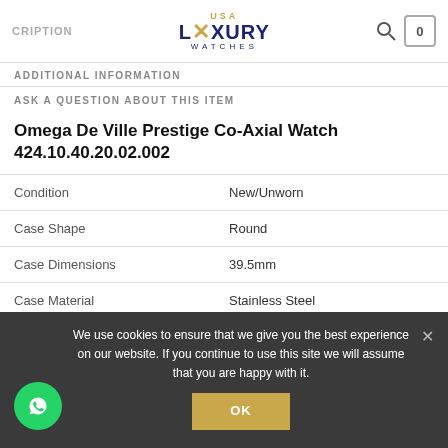CRIPTION | USA LUXURY WATCHES | 0
ADDITIONAL INFORMATION
ASK A QUESTION ABOUT THIS ITEM
Omega De Ville Prestige Co-Axial Watch 424.10.40.20.02.002
|  |  |
| --- | --- |
| Condition | New/Unworn |
| Case Shape | Round |
| Case Dimensions | 39.5mm |
| Case Material | Stainless Steel |
We use cookies to ensure that we give you the best experience on our website. If you continue to use this site we will assume that you are happy with it.